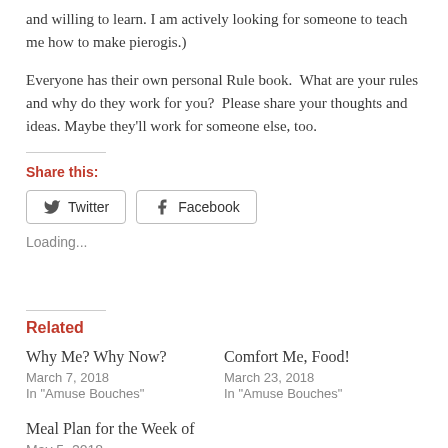and willing to learn. I am actively looking for someone to teach me how to make pierogis.)
Everyone has their own personal Rule book.  What are your rules and why do they work for you?  Please share your thoughts and ideas. Maybe they'll work for someone else, too.
Share this:
[Figure (other): Twitter and Facebook social sharing buttons]
Loading...
Related
Why Me? Why Now?
March 7, 2018
In "Amuse Bouches"
Comfort Me, Food!
March 23, 2018
In "Amuse Bouches"
Meal Plan for the Week of
May 5, 2018